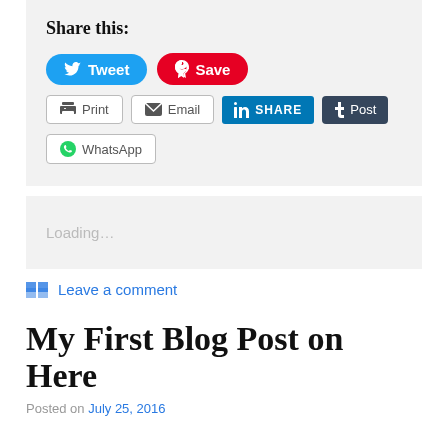Share this:
[Figure (screenshot): Social share buttons: Tweet (blue pill), Save/Pinterest (red pill), Print (outline), Email (outline), SHARE/LinkedIn (blue), Post/Tumblr (dark), WhatsApp (outline)]
Loading…
Leave a comment
My First Blog Post on Here
Posted on July 25, 2016